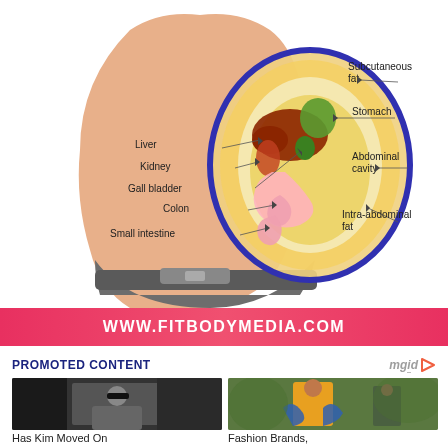[Figure (illustration): Cross-sectional anatomical diagram of the human abdomen showing internal organs labeled: Liver, Kidney, Gall bladder, Colon, Small intestine (on left side), and Subcutaneous fat, Stomach, Abdominal cavity, Intra-abdominal fat (on right side). A human figure is shown from the side with the abdominal region cut away to reveal the organs.]
WWW.FITBODYMEDIA.COM
PROMOTED CONTENT
[Figure (photo): Photo of a woman wearing sunglasses in dark clothing, getting out of a car.]
[Figure (photo): Photo of a woman in a yellow halter dress with a blue shawl, fashion editorial style.]
Has Kim Moved On
Fashion Brands,